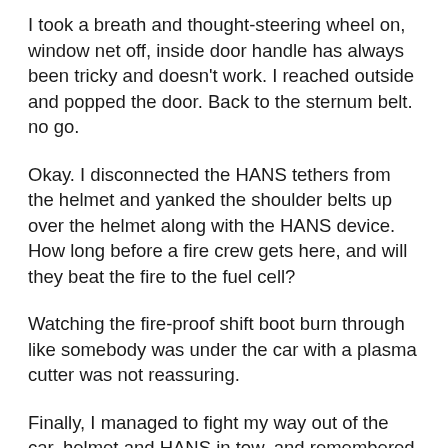I took a breath and thought-steering wheel on, window net off, inside door handle has always been tricky and doesn't work. I reached outside and popped the door. Back to the sternum belt. no go.
Okay. I disconnected the HANS tethers from the helmet and yanked the shoulder belts up over the helmet along with the HANS device. How long before a fire crew gets here, and will they beat the fire to the fuel cell?
Watching the fire-proof shift boot burn through like somebody was under the car with a plasma cutter was not reassuring.
Finally, I managed to fight my way out of the car, helmet and HANS in tow, and remembered the Cool Suit hoses attached to me. I popped them free and ran for the wall to take cover, just as the fire truck showed up. On later